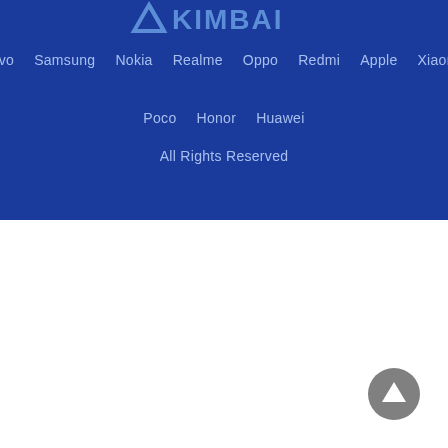[Figure (logo): KIMBAI logo in white/light blue on dark blue background]
Vivo   Samsung   Nokia   Realme   Oppo   Redmi   Apple   Xiaomi
Poco   Honor   Huawei
All Rights Reserved
[Figure (other): Gray circular scroll-to-top button with upward triangle arrow]